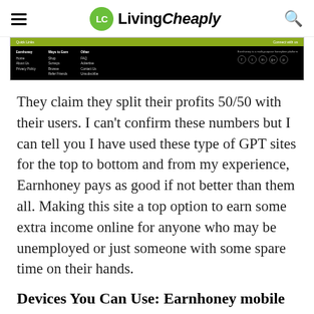LivingCheaply
[Figure (screenshot): Screenshot of LivingCheaply website footer showing Quick Links, Ways to Earn, Other columns and social icons on dark background with olive-green header bar]
They claim they split their profits 50/50 with their users. I can't confirm these numbers but I can tell you I have used these type of GPT sites for the top to bottom and from my experience, Earnhoney pays as good if not better than them all. Making this site a top option to earn some extra income online for anyone who may be unemployed or just someone with some spare time on their hands.
Devices You Can Use: Earnhoney mobile